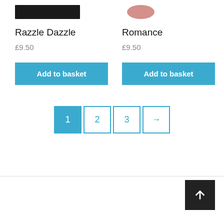Razzle Dazzle
£9.50
Add to basket
Romance
£9.50
Add to basket
1
2
3
→